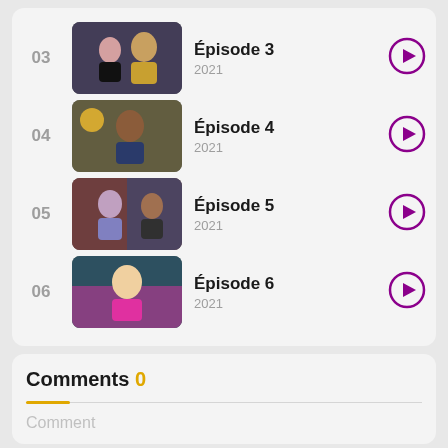03 Épisode 3 2021
04 Épisode 4 2021
05 Épisode 5 2021
06 Épisode 6 2021
Comments 0
Comment